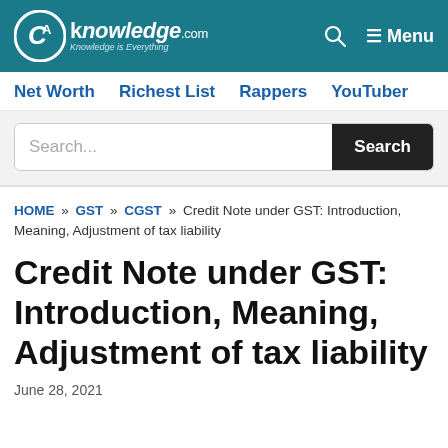CAknowledge.com — Knowledge is Everything | Menu
Net Worth | Richest List | Rappers | YouTuber
Search...
HOME » GST » CGST » Credit Note under GST: Introduction, Meaning, Adjustment of tax liability
Credit Note under GST: Introduction, Meaning, Adjustment of tax liability
June 28, 2021